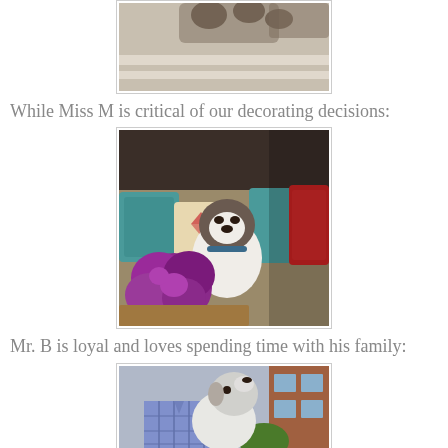[Figure (photo): Photo of a dog lying on a rug, cropped showing paws and striped rug pattern]
While Miss M is critical of our decorating decisions:
[Figure (photo): Photo of a Boston Terrier dog sitting on a sofa surrounded by colorful pillows (teal, red, patterned), with large purple flowers in the foreground on a wooden table]
Mr. B is loyal and loves spending time with his family:
[Figure (photo): Photo of a white and grey dog looking up at a person in a blue plaid shirt, outdoors with a brick building in the background]